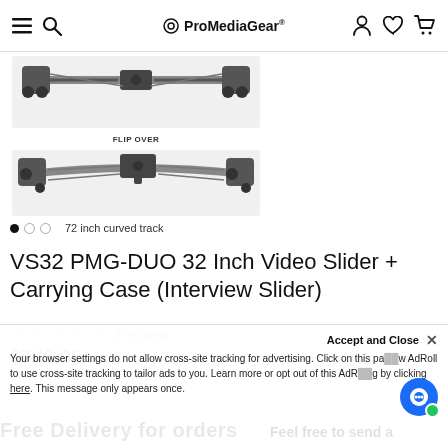ProMediaGear®
[Figure (photo): Camera slider product shown from two angles – top view (flipped) and bottom view, with FLIP OVER label between them]
72 inch curved track
VS32 PMG-DUO 32 Inch Video Slider + Carrying Case (Interview Slider)
★★★★★ 3 reviews
$749.95
Your browser settings do not allow cross-site tracking for advertising. Click on this page to allow AdRoll to use cross-site tracking to tailor ads to you. Learn more or opt out of this AdRoll tracking by clicking here. This message only appears once.
Accept and Close
Free Delivery for orders
Feel free to send a